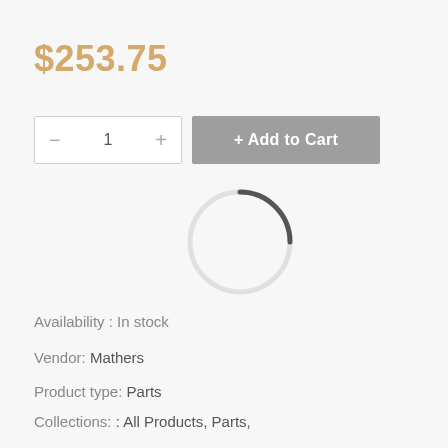$253.75
[Figure (infographic): E-commerce product page UI showing quantity selector with minus and plus buttons showing '1', an 'Add to Cart' button in grey, and a circular loading spinner]
Availability : In stock
Vendor:   Mathers
Product type:   Parts
Collections:  : All Products,  Parts,
Tags:   All Products, Parts,